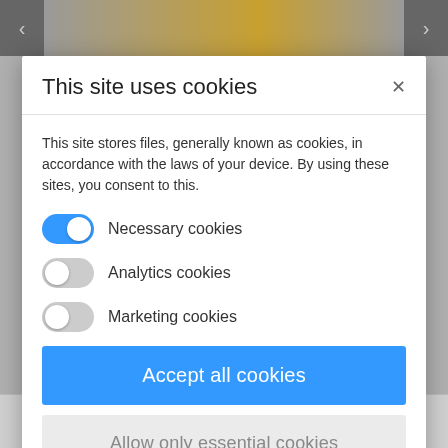[Figure (screenshot): Background webpage with navigation arrows and partial product image visible behind cookie consent modal]
This site uses cookies
This site stores files, generally known as cookies, in accordance with the laws of your device. By using these sites, you consent to this.
Necessary cookies (toggle on)
Analytics cookies (toggle off)
Marketing cookies (toggle off)
Accept all cookies
Allow only essential cookies
More information
Newsletter